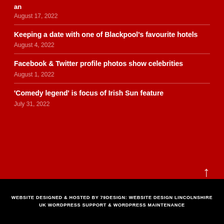an
August 17, 2022
Keeping a date with one of Blackpool's favourite hotels
August 4, 2022
Facebook & Twitter profile photos show celebrities
August 1, 2022
'Comedy legend' is focus of Irish Sun feature
July 31, 2022
WEBSITE DESIGNED & HOSTED BY 79DESIGN: WEBSITE DESIGN LINCOLNSHIRE
UK WORDPRESS SUPPORT & WORDPRESS MAINTENANCE